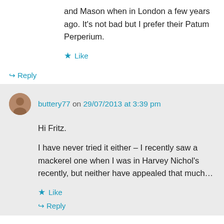and Mason when in London a few years ago. It's not bad but I prefer their Patum Perperium.
Like
Reply
buttery77 on 29/07/2013 at 3:39 pm
Hi Fritz.
I have never tried it either – I recently saw a mackerel one when I was in Harvey Nichol's recently, but neither have appealed that much…
Like
Reply